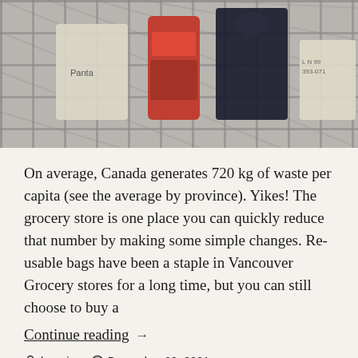[Figure (photo): Shopping cart viewed from above containing grocery items including a red jar/bottle, white bag, dark items, and beige/tan packaged goods.]
On average, Canada generates 720 kg of waste per capita (see the average by province). Yikes! The grocery store is one place you can quickly reduce that number by making some simple changes. Reusable bags have been a staple in Vancouver Grocery stores for a long time, but you can still choose to buy a
Continue reading  →
looprice   December 22, 2021
Clean Living, lessplastic, Sustainability
food, groceries, lessplastic, reduce, shopping, zerowaste
Leave a comment